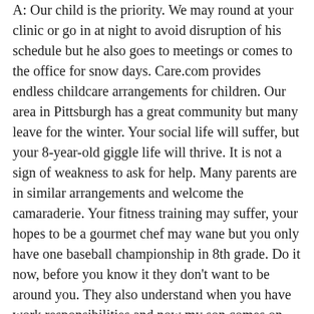A: Our child is the priority. We may round at your clinic or go in at night to avoid disruption of his schedule but he also goes to meetings or comes to the office for snow days. Care.com provides endless childcare arrangements for children. Our area in Pittsburgh has a great community but many leave for the winter. Your social life will suffer, but your 8-year-old giggle life will thrive. It is not a sign of weakness to ask for help. Many parents are in similar arrangements and welcome the camaraderie. Your fitness training may suffer, your hopes to be a gourmet chef may wane but you only have one baseball championship in 8th grade. Do it now, before you know it they don't want to be around you. They also understand when you have work responsibilities and now my son comes on snow days and is able to pack instruments and run the autoclave. He is asking me how old I was when I mowed the grass. Embrace your kids when they want to be part of your family unit and help out, you will only grow stronger. Teach them where the laundry goes and how to run the machine. Yes, you WILL have water on the floor at times but you will have self-